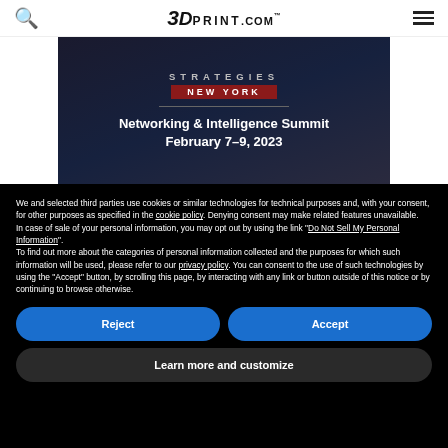3DPRINT.COM
[Figure (photo): Dark banner image for Strategies New York Networking & Intelligence Summit, February 7-9, 2023, with dark blue/grey background]
We and selected third parties use cookies or similar technologies for technical purposes and, with your consent, for other purposes as specified in the cookie policy. Denying consent may make related features unavailable.
In case of sale of your personal information, you may opt out by using the link "Do Not Sell My Personal Information".
To find out more about the categories of personal information collected and the purposes for which such information will be used, please refer to our privacy policy. You can consent to the use of such technologies by using the "Accept" button, by scrolling this page, by interacting with any link or button outside of this notice or by continuing to browse otherwise.
Reject
Accept
Learn more and customize